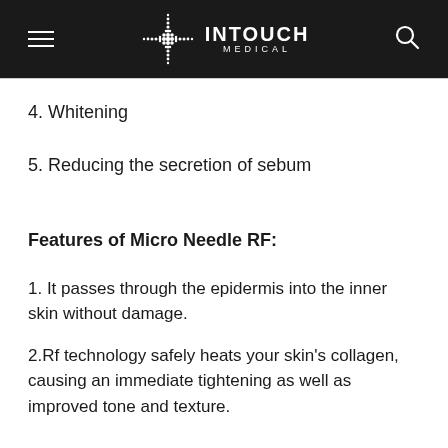INTOUCH MEDICAL
4. Whitening
5. Reducing the secretion of sebum
Features of Micro Needle RF:
1. It passes through the epidermis into the inner skin without damage.
2.Rf technology safely heats your skin's collagen, causing an immediate tightening as well as improved tone and texture.